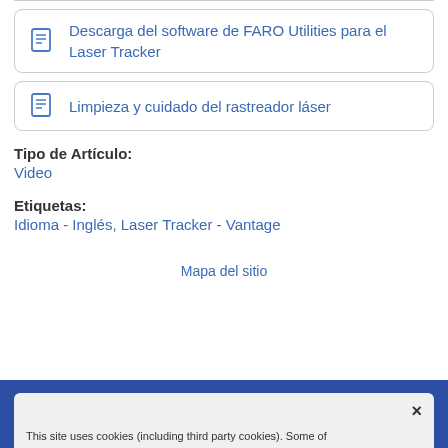Descarga del software de FARO Utilities para el Laser Tracker
Limpieza y cuidado del rastreador láser
Tipo de Artículo:
Video
Etiquetas:
Idioma - Inglés, Laser Tracker - Vantage
Mapa del sitio
This site uses cookies (including third party cookies). Some of